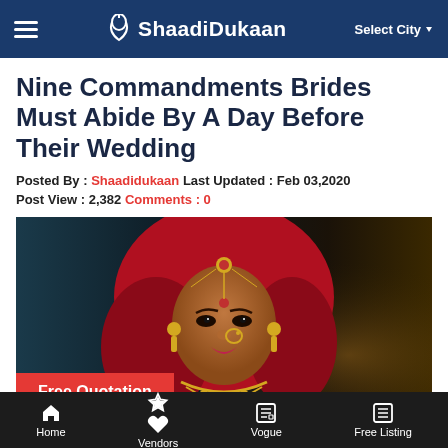ShaadiDukaan — Select City
Nine Commandments Brides Must Abide By A Day Before Their Wedding
Posted By : Shaadidukaan Last Updated : Feb 03,2020
Post View : 2,382 Comments : 0
[Figure (photo): Portrait of an Indian bride in traditional red dupatta with gold jewellery including maang tikka, nath, and necklace. A red 'Free Quotation' button overlays the bottom-left of the image.]
Home | Vendors | Vogue | Free Listing